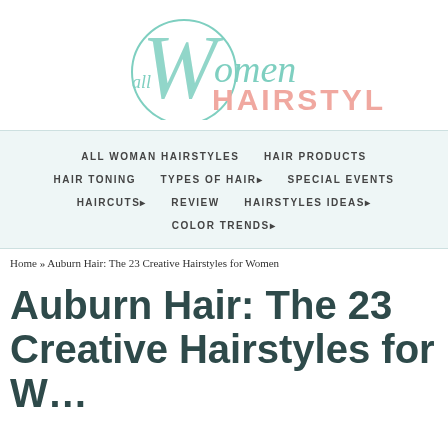[Figure (logo): All Women Hairstyles logo with teal script 'all Women' and pink 'HAIRSTYLES' text]
ALL WOMAN HAIRSTYLES | HAIR PRODUCTS | HAIR TONING | TYPES OF HAIR> | SPECIAL EVENTS | HAIRCUTS> | REVIEW | HAIRSTYLES IDEAS> | COLOR TRENDS>
Home » Auburn Hair: The 23 Creative Hairstyles for Women
Auburn Hair: The 23 Creative Hairstyles for Women